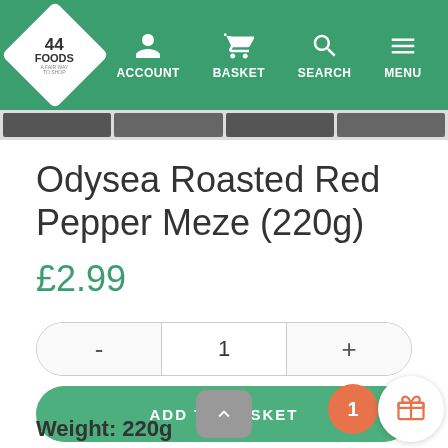[Figure (screenshot): 44 Foods website navigation bar with logo, Account, Basket, Search, Menu icons on green background]
[Figure (photo): Thumbnail image strip showing partial product photos]
Odysea Roasted Red Pepper Meze (220g)
£2.99
[Figure (other): Quantity selector with minus button, 1, and plus button in a rounded pill border]
ADD TO BASKET
Weight: 220g